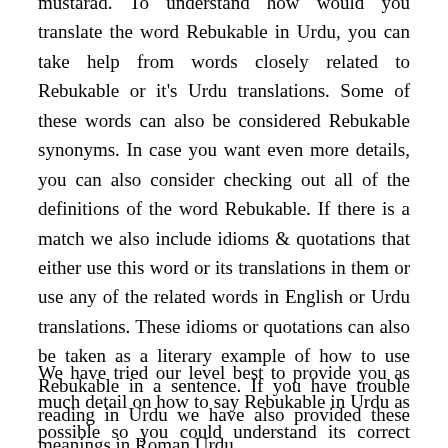mustarad. To understand how would you translate the word Rebukable in Urdu, you can take help from words closely related to Rebukable or it's Urdu translations. Some of these words can also be considered Rebukable synonyms. In case you want even more details, you can also consider checking out all of the definitions of the word Rebukable. If there is a match we also include idioms & quotations that either use this word or its translations in them or use any of the related words in English or Urdu translations. These idioms or quotations can also be taken as a literary example of how to use Rebukable in a sentence. If you have trouble reading in Urdu we have also provided these meanings in Roman Urdu.
We have tried our level best to provide you as much detail on how to say Rebukable in Urdu as possible so you could understand its correct English to Urdu